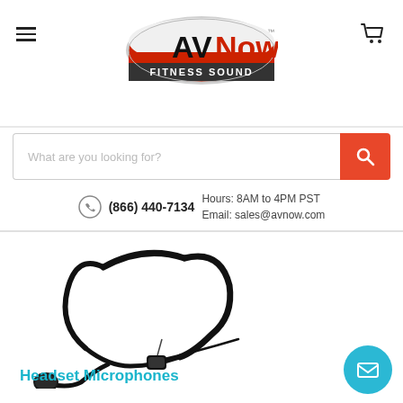AVNow Fitness Sound — navigation header with logo, hamburger menu, and cart icon
What are you looking for?
(866) 440-7134  Hours: 8AM to 4PM PST  Email: sales@avnow.com
[Figure (photo): Black fitness headset microphone with flexible boom arm and ear hook on white background]
Headset Microphones